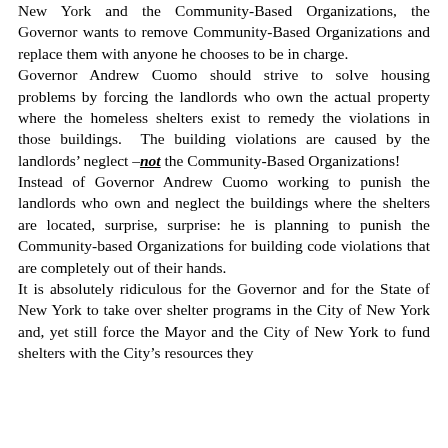New York and the Community-Based Organizations, the Governor wants to remove Community-Based Organizations and replace them with anyone he chooses to be in charge.
Governor Andrew Cuomo should strive to solve housing problems by forcing the landlords who own the actual property where the homeless shelters exist to remedy the violations in those buildings. The building violations are caused by the landlords' neglect –not the Community-Based Organizations!
Instead of Governor Andrew Cuomo working to punish the landlords who own and neglect the buildings where the shelters are located, surprise, surprise: he is planning to punish the Community-based Organizations for building code violations that are completely out of their hands.
It is absolutely ridiculous for the Governor and for the State of New York to take over shelter programs in the City of New York and, yet still force the Mayor and the City of New York to fund shelters with the City's resources they